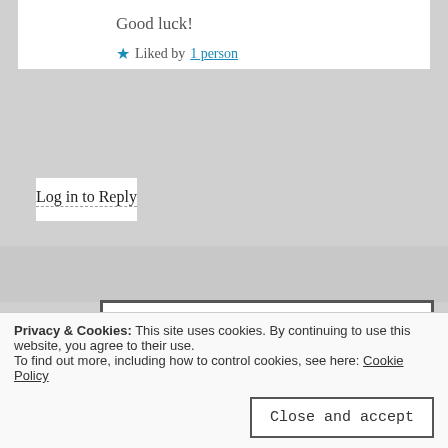Good luck!
★ Liked by 1 person
Log in to Reply
noveldeelights
July 4, 2018 at 4:09 pm
I've got this. I've got this. Breathe, breathe.
★ Liked by 1 person
Privacy & Cookies: This site uses cookies. By continuing to use this website, you agree to their use.
To find out more, including how to control cookies, see here: Cookie Policy
Close and accept